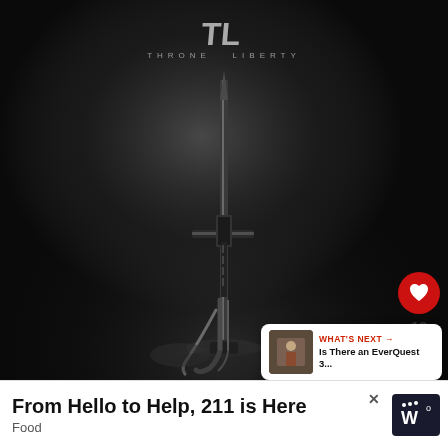[Figure (illustration): Throne and Liberty game artwork showing a dark fantasy greatsword standing upright on a pedestal, lit by dramatic spotlight against dark smoky background. The TL (Throne and Liberty) logo is visible at the top center.]
[Figure (infographic): UI overlay: red heart like button, count of 18, share button, and a 'What's Next' card thumbnail showing 'Is There an EverQuest 3...' with an in-game thumbnail]
WHAT'S NEXT → Is There an EverQuest 3...
From Hello to Help, 211 is Here
Food